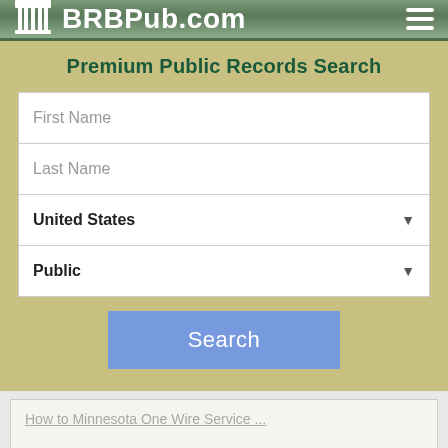BRBPub.com
Premium Public Records Search
First Name
Last Name
United States
Public
Search
ADVERTISING